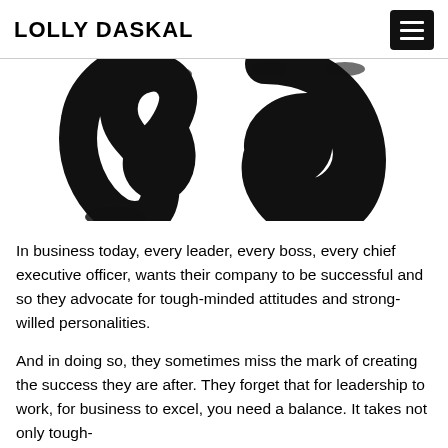LOLLY DASKAL
[Figure (illustration): Large black ink brush calligraphy character, partially cropped, on white background]
In business today, every leader, every boss, every chief executive officer, wants their company to be successful and so they advocate for tough-minded attitudes and strong-willed personalities.
And in doing so, they sometimes miss the mark of creating the success they are after. They forget that for leadership to work, for business to excel, you need a balance. It takes not only tough-